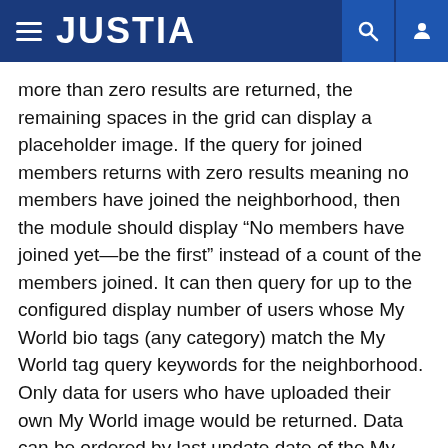JUSTIA
more than zero results are returned, the remaining spaces in the grid can display a placeholder image. If the query for joined members returns with zero results meaning no members have joined the neighborhood, then the module should display “No members have joined yet—be the first” instead of a count of the members joined. It can then query for up to the configured display number of users whose My World bio tags (any category) match the My World tag query keywords for the neighborhood. Only data for users who have uploaded their own My World image would be returned. Data can be ordered by last update date of the My World profile. Each image displayed can be resized and cropped to 50×50 pixels in the Flash movie. The crop height and width can be configurable as input variables. Each image can be linked to a URL specified in the <ImageLink> or equivalent tag in the XML node for